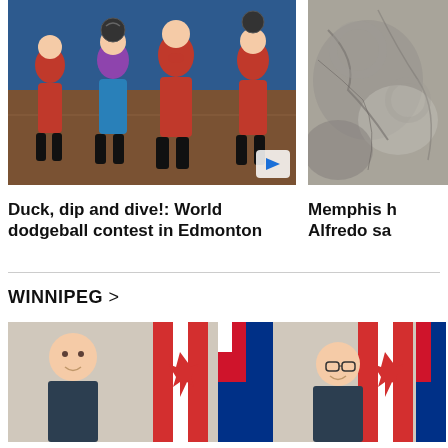[Figure (photo): Dodgeball players in red and blue uniforms playing indoors, with a play button overlay in the bottom right]
[Figure (photo): Partial image of a textured grey surface (possibly rock or sand), partially cut off on the right side]
Duck, dip and dive!: World dodgeball contest in Edmonton
Memphis h Alfredo sa
WINNIPEG >
[Figure (photo): Two people sitting in front of Canadian and Manitoba provincial flags, appearing to be at an official event or press conference]